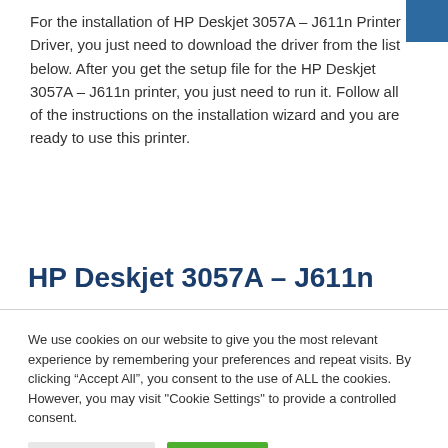For the installation of HP Deskjet 3057A – J611n Printer Driver, you just need to download the driver from the list below. After you get the setup file for the HP Deskjet 3057A – J611n printer, you just need to run it. Follow all of the instructions on the installation wizard and you are ready to use this printer.
HP Deskjet 3057A – J611n
We use cookies on our website to give you the most relevant experience by remembering your preferences and repeat visits. By clicking “Accept All”, you consent to the use of ALL the cookies. However, you may visit "Cookie Settings" to provide a controlled consent.